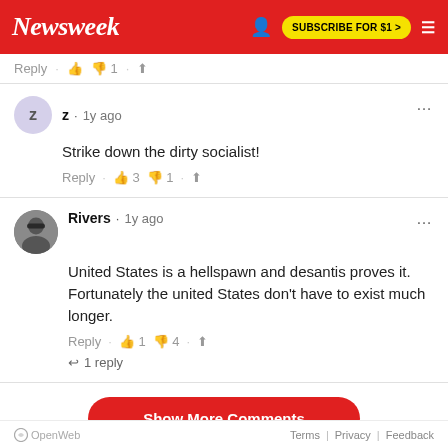Newsweek | SUBSCRIBE FOR $1 >
Reply · 👍 👎 1 · Share
z · 1y ago
Strike down the dirty socialist!
Reply · 👍 3 👎 1 · Share
Rivers · 1y ago
United States is a hellspawn and desantis proves it. Fortunately the united States don't have to exist much longer.
Reply · 👍 1 👎 4 · Share
↩ 1 reply
Show More Comments
OpenWeb | Terms | Privacy | Feedback